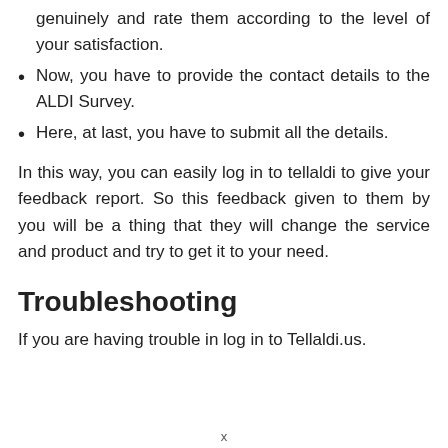genuinely and rate them according to the level of your satisfaction.
Now, you have to provide the contact details to the ALDI Survey.
Here, at last, you have to submit all the details.
In this way, you can easily log in to tellaldi to give your feedback report. So this feedback given to them by you will be a thing that they will change the service and product and try to get it to your need.
Troubleshooting
If you are having trouble in log in to Tellaldi.us.